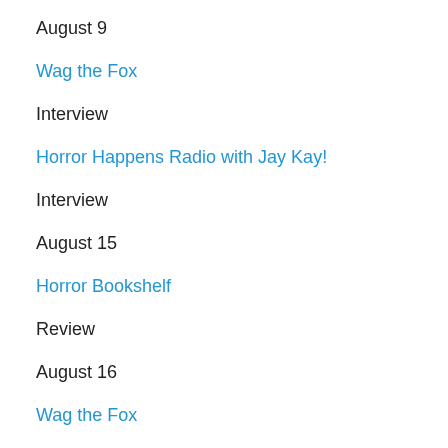August 9
Wag the Fox
Interview
Horror Happens Radio with Jay Kay!
Interview
August 15
Horror Bookshelf
Review
August 16
Wag the Fox